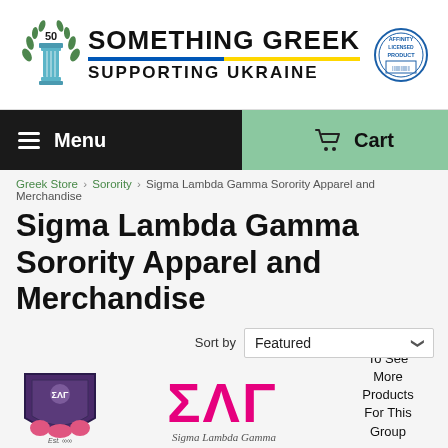[Figure (logo): Something Greek logo with laurel emblem, 'SOMETHING GREEK' title text, 'SUPPORTING UKRAINE' subtitle with Ukrainian flag colors underline, and Affinity Licensed Product badge]
Menu
Cart
Greek Store › Sorority › Sigma Lambda Gamma Sorority Apparel and Merchandise
Sigma Lambda Gamma Sorority Apparel and Merchandise
Sort by
Featured
[Figure (photo): Sigma Lambda Gamma sorority crest/shield image]
[Figure (logo): Sigma Lambda Gamma Greek letters ΣΛΓ in pink with 'Sigma Lambda Gamma' cursive text below]
To See More Products For This Group
SHOP NOW ›